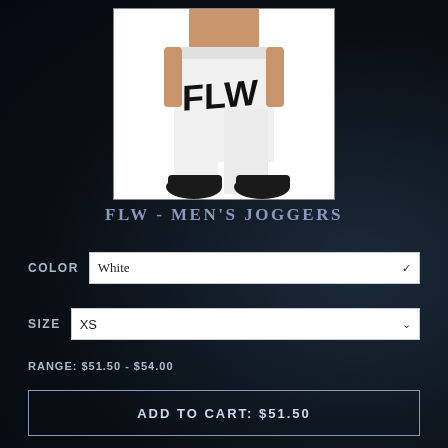[Figure (photo): Man wearing white jogger pants with black FLW logo graphic on the leg, wearing black sneakers, shirtless, photographed from torso down]
FLW - MEN'S JOGGERS
COLOR  White
SIZE  XS
RANGE: $51.50 - $54.00
ADD TO CART: $51.50